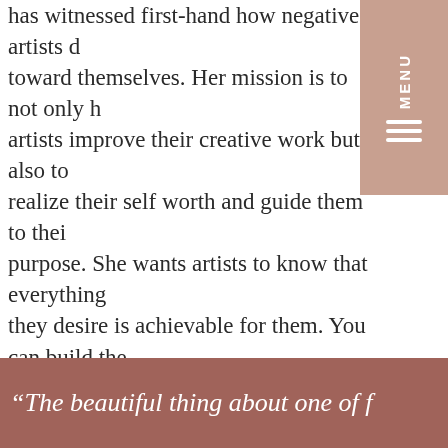has witnessed first-hand how negative artists d toward themselves. Her mission is to not only h artists improve their creative work but also to realize their self worth and guide them to thei purpose. She wants artists to know that everything they desire is achievable for them. You can build the life you want and make money on your own terms. Intuitively, Shannon is able to read your biggest blocks and channel how to overcome them. This holistic approach allows artists to navigate their career path with ease.
“The beautiful thing about one of f